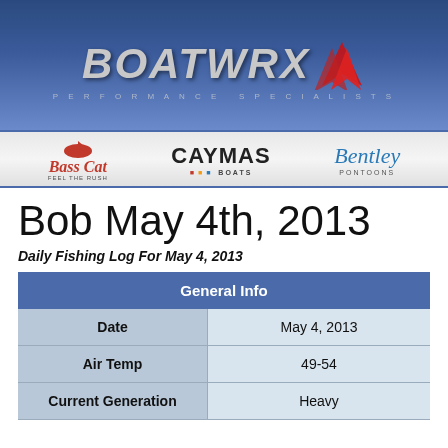[Figure (logo): BoatWrx Performance Specialists logo with red arrow graphic on dark blue background, with Bass Cat, Caymas Boats, and Bentley Pontoons brand logos below on a light gray bar]
Bob May 4th, 2013
Daily Fishing Log For May 4, 2013
| General Info |
| --- |
| Date | May 4, 2013 |
| Air Temp | 49-54 |
| Current Generation | Heavy |